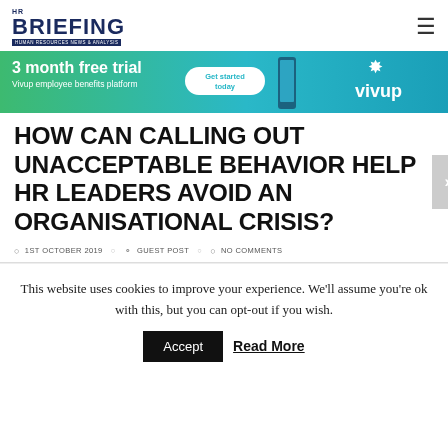HR BRIEFING — Human Resources News & Analysis
[Figure (infographic): Vivup employee benefits platform advertisement banner: '3 month free trial — Vivup employee benefits platform — Get started today' with phone image and vivup logo on green/teal gradient background.]
HOW CAN CALLING OUT UNACCEPTABLE BEHAVIOR HELP HR LEADERS AVOID AN ORGANISATIONAL CRISIS?
1ST OCTOBER 2019  GUEST POST  NO COMMENTS
This website uses cookies to improve your experience. We'll assume you're ok with this, but you can opt-out if you wish.
Accept  Read More